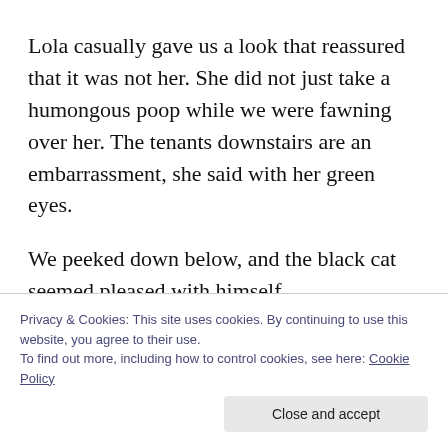Lola casually gave us a look that reassured that it was not her. She did not just take a humongous poop while we were fawning over her. The tenants downstairs are an embarrassment, she said with her green eyes.
We peeked down below, and the black cat seemed pleased with himself.
Once we got in the car, I looked up Lola’s profile on the adoption agency’s website. I’m nervous about possibly adopting another cat. But I am curious about this one
Privacy & Cookies: This site uses cookies. By continuing to use this website, you agree to their use.
To find out more, including how to control cookies, see here: Cookie Policy